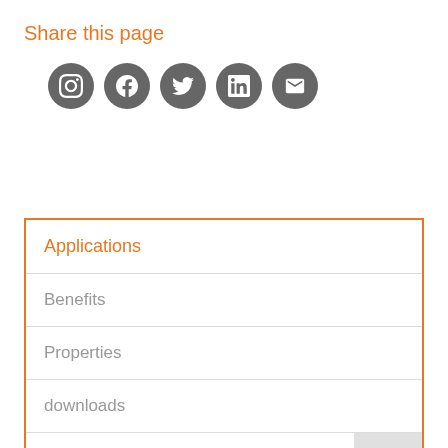Share this page
[Figure (infographic): Five social media share icons (Instagram, Facebook, Twitter, LinkedIn, Email) as dark grey circles with white symbols]
Applications
Benefits
Properties
downloads
Spare Parts 2